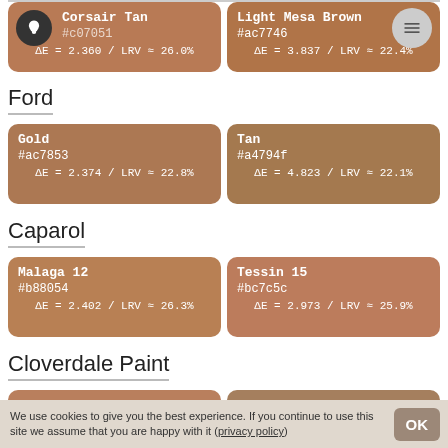[Figure (infographic): Color swatch cards at top: Corsair Tan #c07051 and Light Mesa Brown #ac7746]
Ford
[Figure (infographic): Ford color swatches: Gold #ac7853 and Tan #a4794f]
Caparol
[Figure (infographic): Caparol color swatches: Malaga 12 #b88054 and Tessin 15 #bc7c5c]
Cloverdale Paint
[Figure (infographic): Cloverdale Paint swatches: Chamois Shirt / 8590 #b97f5d and Caramel Mountain / 8534 #a57f5e]
We use cookies to give you the best experience. If you continue to use this site we assume that you are happy with it (privacy policy)